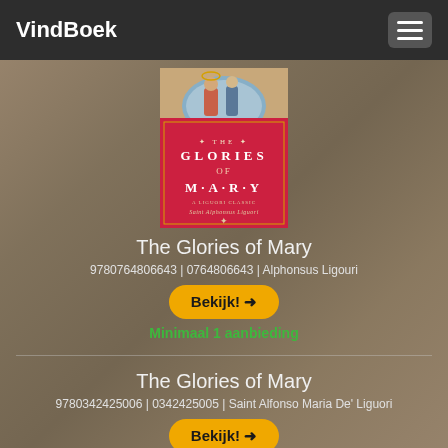VindBoek
[Figure (illustration): Book cover of 'The Glories of Mary' by Saint Alphonsus Liguori — red cover with gold lettering and a religious painting at top]
The Glories of Mary
9780764806643 | 0764806643 | Alphonsus Ligouri
Bekijk! →
Minimaal 1 aanbieding
The Glories of Mary
9780342425006 | 0342425005 | Saint Alfonso Maria De' Liguori
Bekijk! →
Minimaal 1 aanbieding